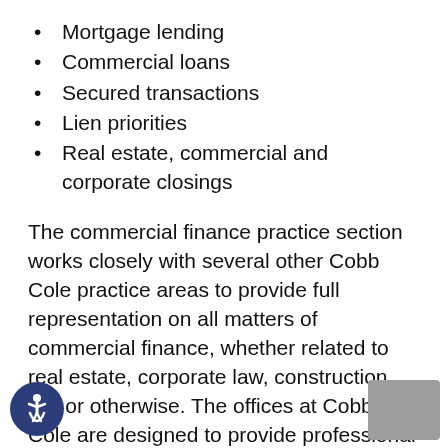Mortgage lending
Commercial loans
Secured transactions
Lien priorities
Real estate, commercial and corporate closings
The commercial finance practice section works closely with several other Cobb Cole practice areas to provide full representation on all matters of commercial finance, whether related to real estate, corporate law, construction law or otherwise. The offices at Cobb Cole are designed to provide professional in-office space for local closings, and are also